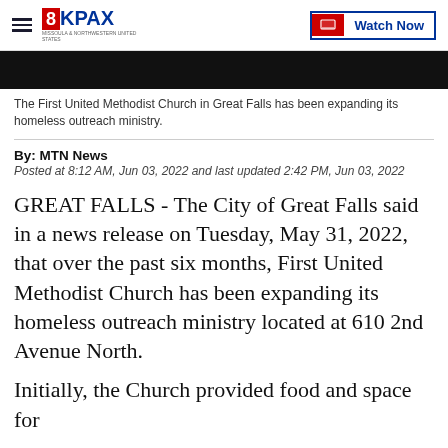8KPAX | Watch Now
[Figure (photo): Black image bar representing a photo/video frame from the news story about First United Methodist Church in Great Falls]
The First United Methodist Church in Great Falls has been expanding its homeless outreach ministry.
By: MTN News
Posted at 8:12 AM, Jun 03, 2022 and last updated 2:42 PM, Jun 03, 2022
GREAT FALLS - The City of Great Falls said in a news release on Tuesday, May 31, 2022, that over the past six months, First United Methodist Church has been expanding its homeless outreach ministry located at 610 2nd Avenue North.
Initially, the Church provided food and space for